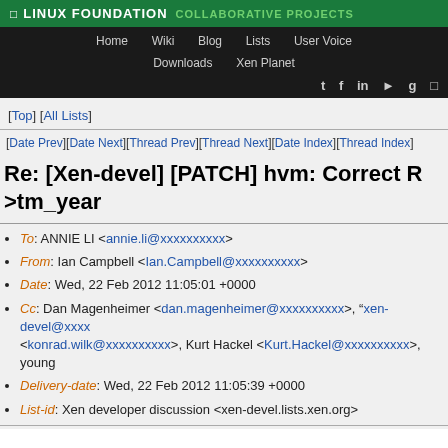LINUX FOUNDATION COLLABORATIVE PROJECTS — Home Wiki Blog Lists User Voice Downloads Xen Planet
[Top] [All Lists]
[Date Prev][Date Next][Thread Prev][Thread Next][Date Index][Thread Index]
Re: [Xen-devel] [PATCH] hvm: Correct R>tm_year
To: ANNIE LI <annie.li@xxxxxxxxxx>
From: Ian Campbell <Ian.Campbell@xxxxxxxxxx>
Date: Wed, 22 Feb 2012 11:05:01 +0000
Cc: Dan Magenheimer <dan.magenheimer@xxxxxxxxxx>, "xen-devel@xxxx <konrad.wilk@xxxxxxxxxx>, Kurt Hackel <Kurt.Hackel@xxxxxxxxxx>, young
Delivery-date: Wed, 22 Feb 2012 11:05:39 +0000
List-id: Xen developer discussion <xen-devel.lists.xen.org>